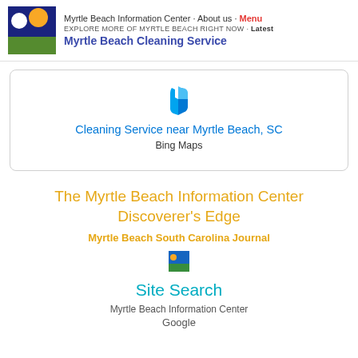Myrtle Beach Information Center · About us · Menu
EXPLORE MORE OF MYRTLE BEACH RIGHT NOW · Latest
Myrtle Beach Cleaning Service
[Figure (other): Bing logo icon (blue stylized letter b)]
Cleaning Service near Myrtle Beach, SC
Bing Maps
The Myrtle Beach Information Center Discoverer's Edge
Myrtle Beach South Carolina Journal
[Figure (logo): Myrtle Beach Information Center small icon logo with blue sky, green ground, and yellow sun]
Site Search
Myrtle Beach Information Center
Google